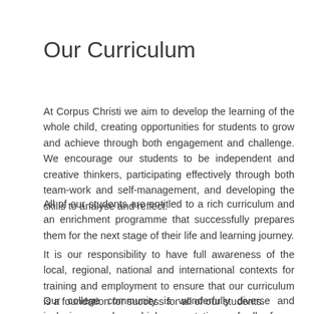Our Curriculum
At Corpus Christi we aim to develop the learning of the whole child, creating opportunities for students to grow and achieve through both engagement and challenge. We encourage our students to be independent and creative thinkers, participating effectively through both team-work and self-management, and developing the skills to analyse and reflect.
All of our students are entitled to a rich curriculum and an enrichment programme that successfully prepares them for the next stage of their life and learning journey.
It is our responsibility to have full awareness of the local, regional, national and international contexts for training and employment to ensure that our curriculum is a foundation for success for all of our students.
Our college community is wonderfully diverse and inclusive, we have high expectations of all of our students and personalise their pathways to ensure they